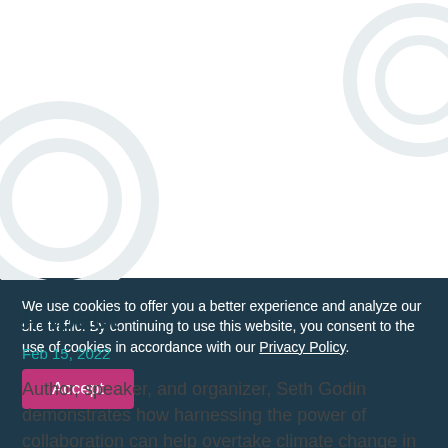Impact
Feb 15, 2022
Author, speaker, and organizer, Seth Godin demonstrates how harnessing the power of collaboration can help overtake climate change in a soon to be published collective work, The Carbon Almanac.
Read More
We use cookies to offer you a better experience and analyze our site traffic. By continuing to use this website, you consent to the use of cookies in accordance with our Privacy Policy.
Accept